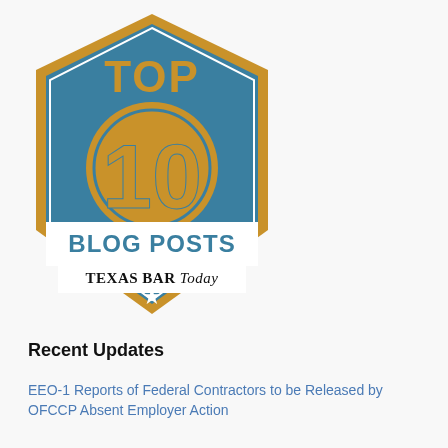[Figure (logo): Top 10 Blog Posts — Texas Bar Today badge. Hexagonal shield shape with a teal/blue background and gold border. Large gold text 'TOP' at top, large gold circle with '10' in the center, white bold text 'BLOG POSTS' below, then 'TEXAS BAR Today' in black serif/italic text on a white banner, and a white star at the bottom point.]
Recent Updates
EEO-1 Reports of Federal Contractors to be Released by OFCCP Absent Employer Action